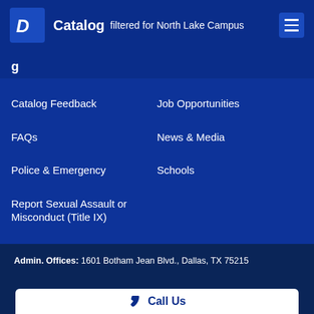Catalog filtered for North Lake Campus
Catalog Feedback
Job Opportunities
FAQs
News & Media
Police & Emergency
Schools
Report Sexual Assault or Misconduct (Title IX)
Submit a Complaint
CARES Act Reporting
Admin. Offices: 1601 Botham Jean Blvd., Dallas, TX 75215
Call Us